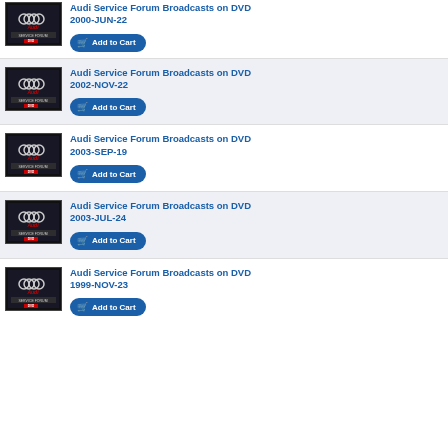[Figure (photo): Audi Service Forum DVD product image - dark background with Audi logo and DVD label]
Audi Service Forum Broadcasts on DVD 2000-JUN-22
Add to Cart
[Figure (photo): Audi Service Forum DVD product image - dark background with Audi logo and DVD label]
Audi Service Forum Broadcasts on DVD 2002-NOV-22
Add to Cart
[Figure (photo): Audi Service Forum DVD product image - dark background with Audi logo and DVD label]
Audi Service Forum Broadcasts on DVD 2003-SEP-19
Add to Cart
[Figure (photo): Audi Service Forum DVD product image - dark background with Audi logo and DVD label]
Audi Service Forum Broadcasts on DVD 2003-JUL-24
Add to Cart
[Figure (photo): Audi Service Forum DVD product image - dark background with Audi logo and DVD label]
Audi Service Forum Broadcasts on DVD 1999-NOV-23
Add to Cart